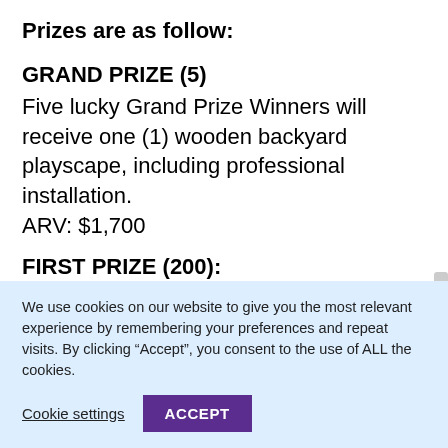Prizes are as follow:
GRAND PRIZE (5)
Five lucky Grand Prize Winners will receive one (1) wooden backyard playscape, including professional installation. ARV: $1,700
FIRST PRIZE (200):
Two hundred (200) First Prize Win...
We use cookies on our website to give you the most relevant experience by remembering your preferences and repeat visits. By clicking “Accept”, you consent to the use of ALL the cookies.
Cookie settings
ACCEPT